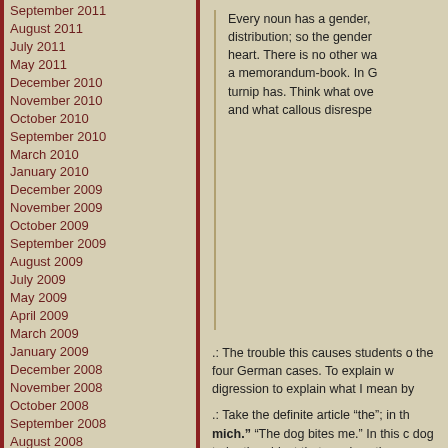September 2011
August 2011
July 2011
May 2011
December 2010
November 2010
October 2010
September 2010
March 2010
January 2010
December 2009
November 2009
October 2009
September 2009
August 2009
July 2009
May 2009
April 2009
March 2009
January 2009
December 2008
November 2008
October 2008
September 2008
August 2008
July 2008
June 2008
May 2008
April 2008
March 2008
February 2008
October 2007
September 2007
Every noun has a gender, distribution; so the gender heart. There is no other wa a memorandum-book. In G turnip has. Think what ove and what callous disrespe
.: The trouble this causes students o the four German cases. To explain w digression to explain what I mean by
.: Take the definite article “the”; in th mich.” “The dog bites me.” In this c dog to be the object that receives th accusative article, den: “Ich beiÃe
.: If, however, I want to do somethin form, dem: “Ich erteile dem Hund to perform an action on something t “Ich nehme den Knochen des Hu
.: Theoretically, this system has its a